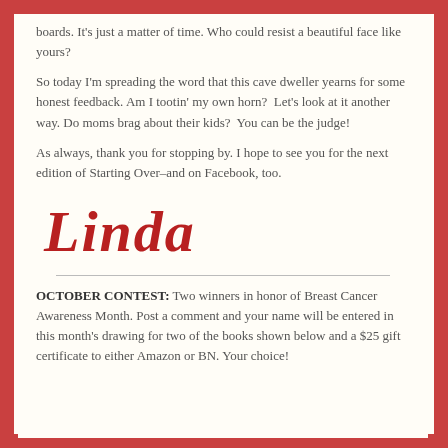boards. It's just a matter of time. Who could resist a beautiful face like yours?
So today I'm spreading the word that this cave dweller yearns for some honest feedback. Am I tootin' my own horn?  Let's look at it another way. Do moms brag about their kids?  You can be the judge!
As always, thank you for stopping by. I hope to see you for the next edition of Starting Over–and on Facebook, too.
[Figure (illustration): Cursive signature reading 'Linda' in red/crimson script font]
OCTOBER CONTEST:  Two winners in honor of Breast Cancer Awareness Month. Post a comment and your name will be entered in this month's drawing for two of the books shown below and a $25 gift certificate to either Amazon or BN. Your choice!